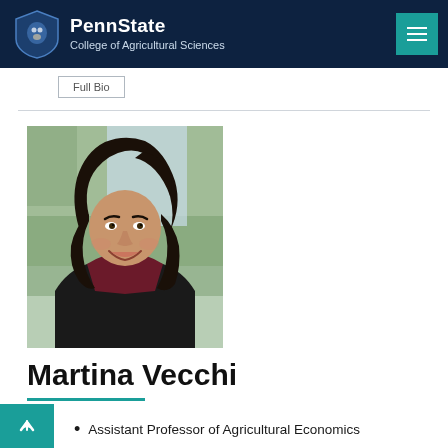PennState College of Agricultural Sciences
Full Bio
[Figure (photo): Professional headshot of Martina Vecchi, a woman with long dark wavy hair, smiling, wearing a dark blazer and burgundy top, with a blurred outdoor background]
Martina Vecchi
Assistant Professor of Agricultural Economics